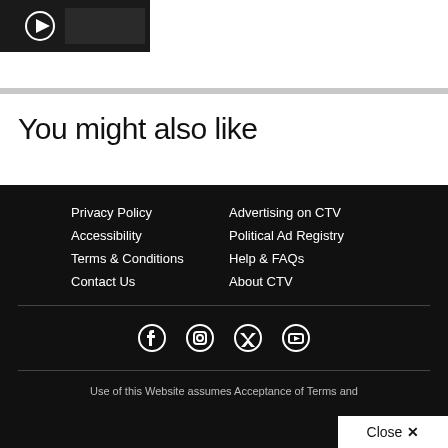[Figure (screenshot): Video thumbnail with play button, dark background, partial image of a person]
You might also like
Privacy Policy | Accessibility | Terms & Conditions | Contact Us | Advertising on CTV | Political Ad Registry | Help & FAQs | About CTV
[Figure (infographic): Social media icons: Facebook, Instagram, Twitter/X, YouTube]
Use of this Website assumes Acceptance of Terms and
Close ✕